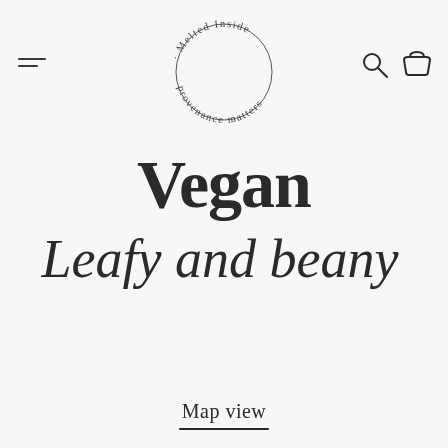[Figure (logo): Circular logo with text 'Melted Inside · provenance matters' arranged in a circle around an empty center]
Vegan
Leafy and beany
Map view